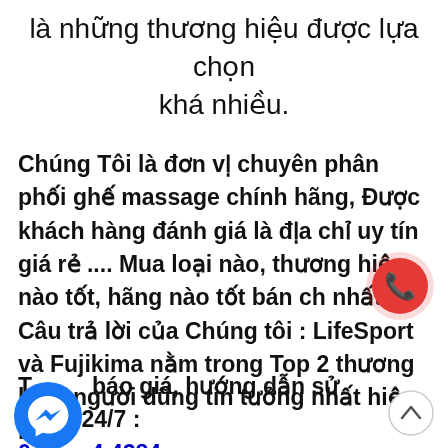là những thương hiệu được lựa chọn khá nhiều.
Chúng Tôi là đơn vị chuyên phân phối ghế massage chính hãng, Được khách hàng đánh giá là địa chỉ uy tín giá rẻ .... Mua loại nào, thương hiệu nào tốt, hãng nào tốt bán ch nhất. Câu trả lời của Chúng tôi : LifeSport và Fujikima nằm trong Top 2 thương hiệu người dũng tin tưởng nhất hiện nay.
Tư báo giá, hướng dẫn sử dụng 24/7 : 09...4.4284
[Figure (illustration): Red circle phone call icon]
[Figure (illustration): Blue Facebook Messenger icon circle]
[Figure (illustration): Up arrow scroll-to-top button circle]